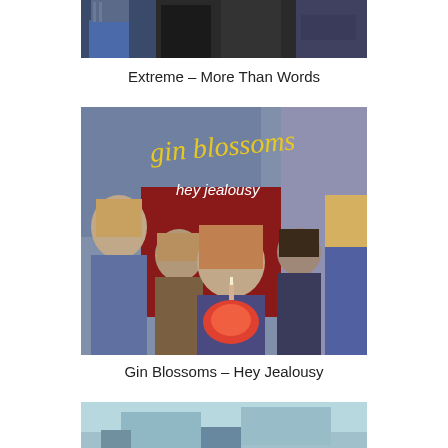[Figure (photo): Partial view of a band photo — bottom halves of people standing, one in blue jeans and striped shirt, others in dark clothing. This is the bottom crop of the Extreme band photo.]
Extreme – More Than Words
[Figure (photo): Album cover for Gin Blossoms 'Hey Jealousy'. Five band members standing in front of a building with a red and blue background. Yellow handwritten text reads 'gin blossoms' and below it 'hey jealousy' in white. Members wear casual 1990s clothing.]
Gin Blossoms – Hey Jealousy
[Figure (photo): Partial top crop of another album cover or band photo, showing the very top edge of an image with a light/cyan background.]